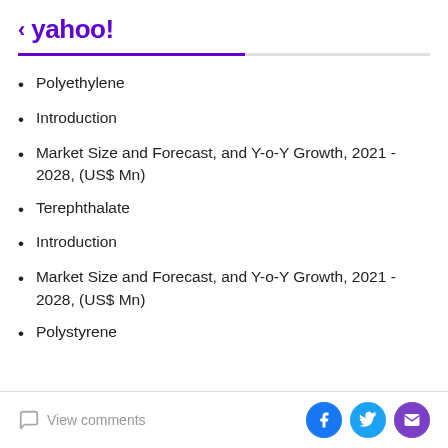< yahoo!
Polyethylene
Introduction
Market Size and Forecast, and Y-o-Y Growth, 2021 - 2028, (US$ Mn)
Terephthalate
Introduction
Market Size and Forecast, and Y-o-Y Growth, 2021 - 2028, (US$ Mn)
Polystyrene
View comments